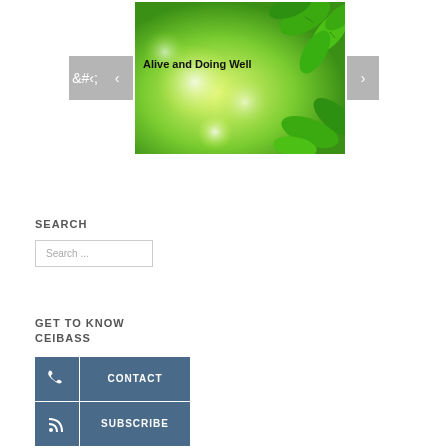[Figure (photo): Slideshow with green bokeh leaves background and text 'Alive and Doing Well', with left and right navigation arrows]
SEARCH
Search ...
GET TO KNOW CEIBASS
CONTACT
SUBSCRIBE